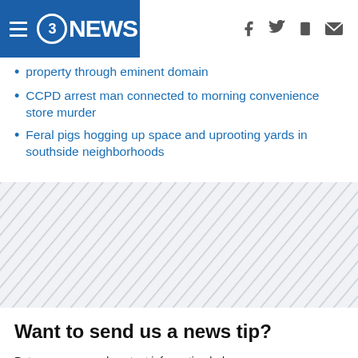3NEWS
property through eminent domain
CCPD arrest man connected to morning convenience store murder
Feral pigs hogging up space and uprooting yards in southside neighborhoods
[Figure (other): Diagonal hatching/stripe decorative background band]
Want to send us a news tip?
Put your name and contact information below so we can